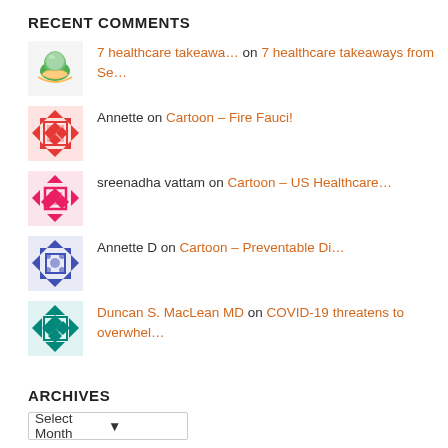RECENT COMMENTS
7 healthcare takeawa… on 7 healthcare takeaways from Se…
Annette on Cartoon – Fire Fauci!
sreenadha vattam on Cartoon – US Healthcare…
Annette D on Cartoon – Preventable Di…
Duncan S. MacLean MD on COVID-19 threatens to overwhel…
ARCHIVES